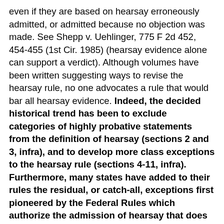even if they are based on hearsay erroneously admitted, or admitted because no objection was made. See Shepp v. Uehlinger, 775 F 2d 452, 454-455 (1st Cir. 1985) (hearsay evidence alone can support a verdict). Although volumes have been written suggesting ways to revise the hearsay rule, no one advocates a rule that would bar all hearsay evidence. Indeed, the decided historical trend has been to exclude categories of highly probative statements from the definition of hearsay (sections 2 and 3, infra), and to develop more class exceptions to the hearsay rule (sections 4-11, infra). Furthermore, many states have added to their rules the residual, or catch-all, exceptions first pioneered by the Federal Rules which authorize the admission of hearsay that does not satisfy any one of the established class exceptions.